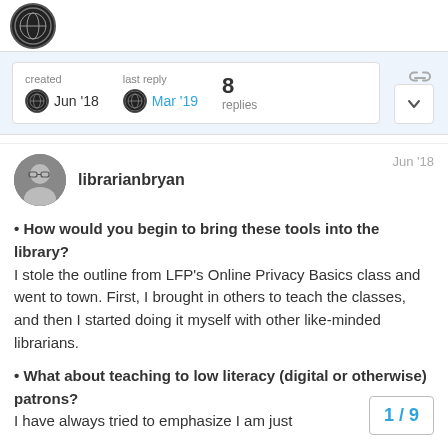Library forum page header with logo
created Jun '18  last reply Mar '19  8 replies
librarianbryan  Jun '18
How would you begin to bring these tools into the library? I stole the outline from LFP's Online Privacy Basics class and went to town. First, I brought in others to teach the classes, and then I started doing it myself with other like-minded librarians.
What about teaching to low literacy (digital or otherwise) patrons? I have always tried to emphasize I am just
1 / 9